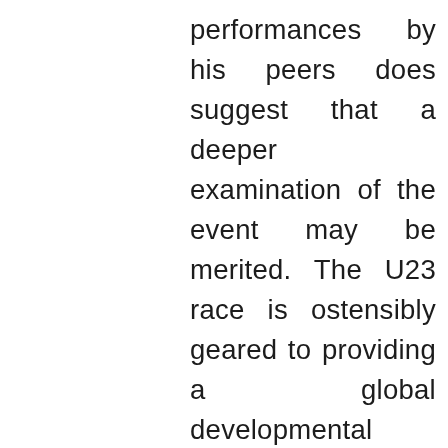performances by his peers does suggest that a deeper examination of the event may be merited. The U23 race is ostensibly geared to providing a global developmental framework for men's cycling. But when the winner of a U23 race is older than the runner-up in the elite event, it poses some hard questions. Does the sport need to rethink the U23 Worlds format, if much of the best talent development in the men's sport has already essentially being “privatized” by